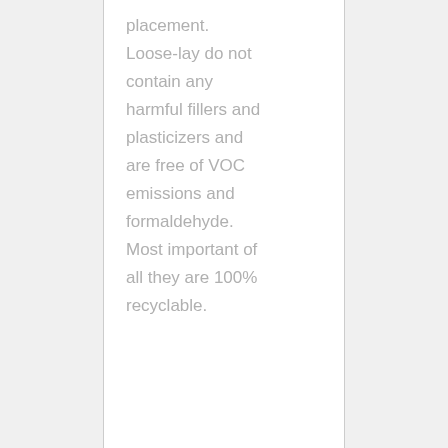placement. Loose-lay do not contain any harmful fillers and plasticizers and are free of VOC emissions and formaldehyde. Most important of all they are 100% recyclable.